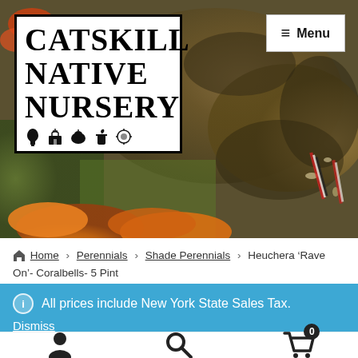[Figure (photo): Close-up photo of a butterfly wing with orange and brown tones, butterfly on orange flowers, serving as website header background]
CATSKILL NATIVE NURSERY
≡ Menu
Home › Perennials › Shade Perennials › Heuchera 'Rave On'- Coralbells- 5 Pint
ⓘ All prices include New York State Sales Tax.
Dismiss